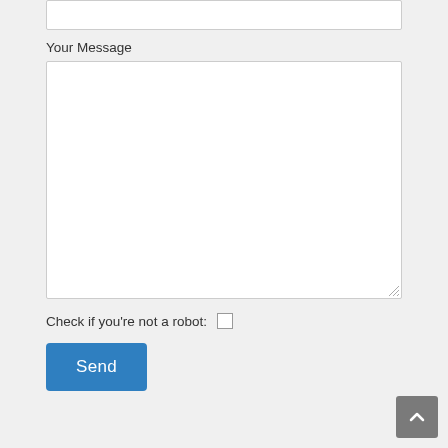[Figure (screenshot): Partial input field (text box) at top of page, cropped]
Your Message
[Figure (screenshot): Large empty textarea input for message, with resize handle at bottom-right]
Check if you're not a robot:
[Figure (screenshot): Unchecked checkbox next to robot verification text]
[Figure (screenshot): Blue Send button]
[Figure (screenshot): Grey back-to-top arrow button at bottom right]